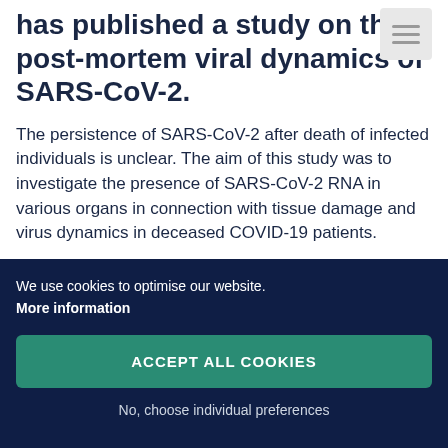has published a study on the post-mortem viral dynamics of SARS-CoV-2.
The persistence of SARS-CoV-2 after death of infected individuals is unclear. The aim of this study was to investigate the presence of SARS-CoV-2 RNA in various organs in connection with tissue damage and virus dynamics in deceased COVID-19 patients.
Twenty-eight patients, who died from COVID-19 were examined. At autopsy, swabs were taken from
We use cookies to optimise our website. More information
ACCEPT ALL COOKIES
No, choose individual preferences